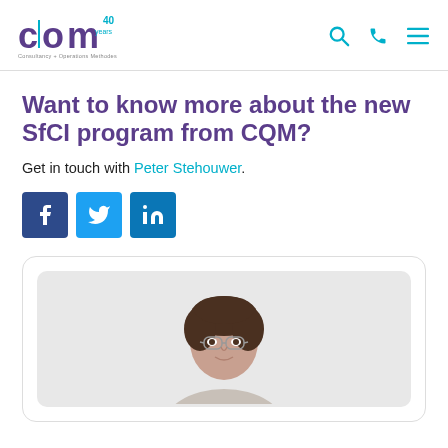CQM logo and navigation header
Want to know more about the new SfCI program from CQM?
Get in touch with Peter Stehouwer.
[Figure (other): Social media share buttons: Facebook, Twitter, LinkedIn]
[Figure (photo): Portrait photo of Peter Stehouwer, a man with dark hair and glasses, shown from shoulders up against a light background, inside a rounded card]